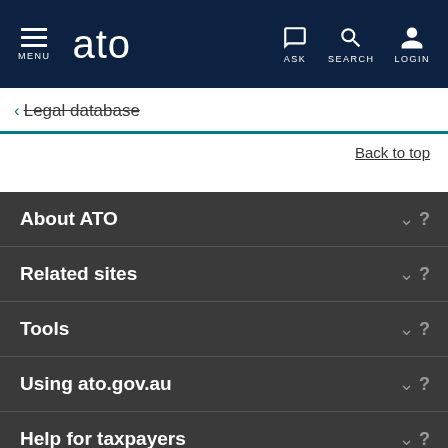MENU | ato | ASK | SEARCH | LOGIN
< Legal database
Back to top
About ATO
Related sites
Tools
Using ato.gov.au
Help for taxpayers
Law rulings and policy